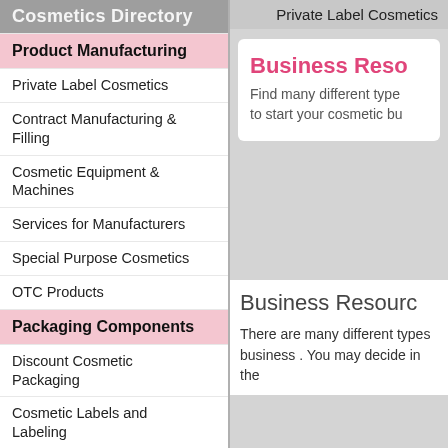Cosmetics Directory
Private Label Cosmetics
Product Manufacturing
Private Label Cosmetics
Contract Manufacturing & Filling
Cosmetic Equipment & Machines
Services for Manufacturers
Special Purpose Cosmetics
OTC Products
Packaging Components
Discount Cosmetic Packaging
Cosmetic Labels and Labeling
Cosmetic Containers
Cosmetic Brushes
Cosmetic Bottles Wholesale
Business Reso
Find many different type to start your cosmetic bu
Business Resource
There are many different types business . You may decide in the